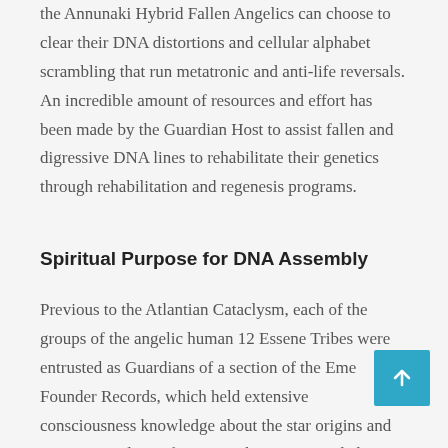the Annunaki Hybrid Fallen Angelics can choose to clear their DNA distortions and cellular alphabet scrambling that run metatronic and anti-life reversals. An incredible amount of resources and effort has been made by the Guardian Host to assist fallen and digressive DNA lines to rehabilitate their genetics through rehabilitation and regenesis programs.
Spiritual Purpose for DNA Assembly
Previous to the Atlantian Cataclysm, each of the groups of the angelic human 12 Essene Tribes were entrusted as Guardians of a section of the Emerald Founder Records, which held extensive consciousness knowledge about the star origins and genetic template information that was recorded